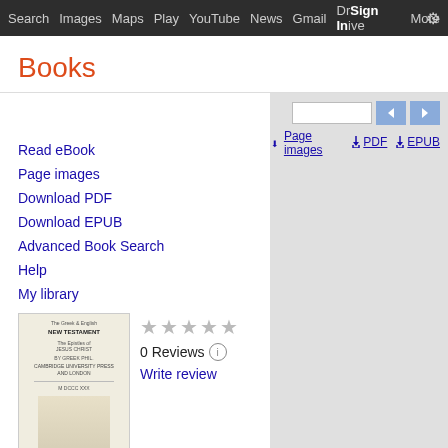Search  Images  Maps  Play  YouTube  News  Gmail  Drive  More  Sign in  ⚙
Books
Page images
PDF
EPUB
Read eBook
Page images
Download PDF
Download EPUB
Advanced Book Search
Help
My library
[Figure (illustration): Book cover thumbnail for The New Testament of Our Lord and Saviour Jesus Christ]
0 Reviews
Write review
The New Testament of Our Lord and Saviour Jesus Christ: Translated Out